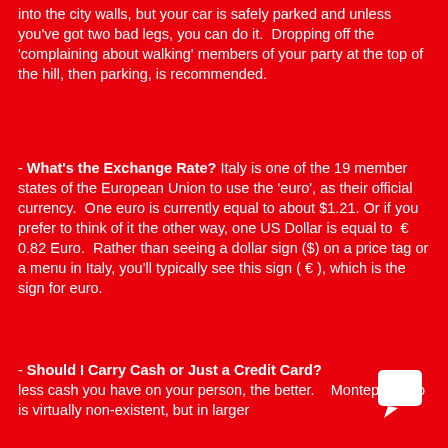into the city walls, but your car is safely parked and unless you've got two bad legs, you can do it.  Dropping off the 'complaining about walking' members of your party at the top of the hill, then parking, is recommended.
- What's the Exchange Rate? Italy is one of the 19 member states of the European Union to use the 'euro', as their official currency.  One euro is currently equal to about $1.21. Or if you prefer to think of it the other way, one US Dollar is equal to  € 0.82 Euro.  Rather than seeing a dollar sign ($) on a price tag or a menu in Italy, you'll typically see this sign ( € ), which is the sign for euro.
- Should I Carry Cash or Just a Credit Card? less cash you have on your person, the better.    Montepulciano is virtually non-existent, but in larger